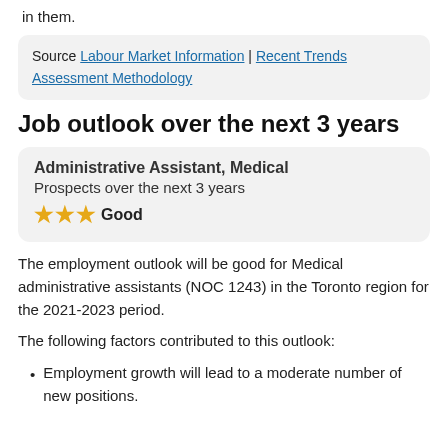in them.
Source Labour Market Information | Recent Trends Assessment Methodology
Job outlook over the next 3 years
Administrative Assistant, Medical
Prospects over the next 3 years
★★★ Good
The employment outlook will be good for Medical administrative assistants (NOC 1243) in the Toronto region for the 2021-2023 period.
The following factors contributed to this outlook:
Employment growth will lead to a moderate number of new positions.